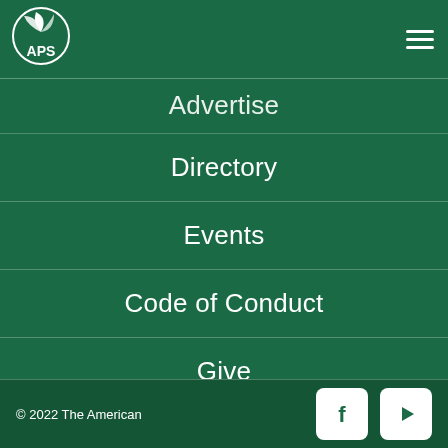APS logo and hamburger menu
Advertise
Directory
Events
Code of Conduct
Give
APS Foundation
APS Staff
© 2022 The American